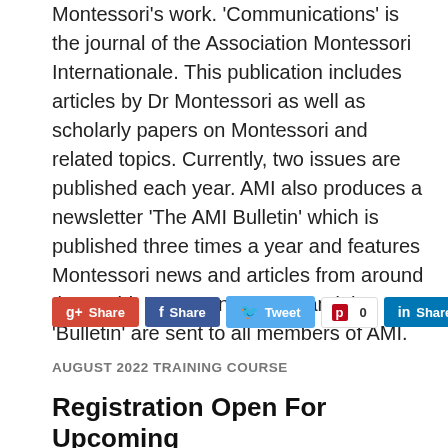Montessori's work. 'Communications' is the journal of the Association Montessori Internationale. This publication includes articles by Dr Montessori as well as scholarly papers on Montessori and related topics. Currently, two issues are published each year. AMI also produces a newsletter 'The AMI Bulletin' which is published three times a year and features Montessori news and articles from around the world. 'Communications' and the 'Bulletin' are sent to all members of AMI.
[Figure (other): Social sharing buttons: Google+ Share, Facebook Share, Tweet, Pinterest with count 0, LinkedIn Share]
AUGUST 2022 TRAINING COURSE
Registration Open For Upcoming